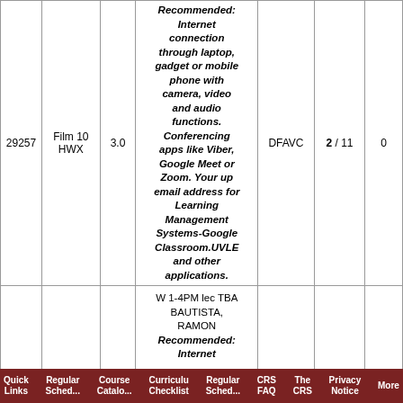| 29257 | Film 10 HWX | 3.0 | Recommended: Internet connection through laptop, gadget or mobile phone with camera, video and audio functions. Conferencing apps like Viber, Google Meet or Zoom. Your up email address for Learning Management Systems-Google Classroom.UVLE and other applications. | DFAVC | 2 / 11 | 0 |
|  |  |  | W 1-4PM lec TBA
BAUTISTA, RAMON
Recommended: Internet |  |  |  |
Quick | Regular | Course | Curriculu | Regular | CRS FAQ | The CRS | Privacy Notice | More